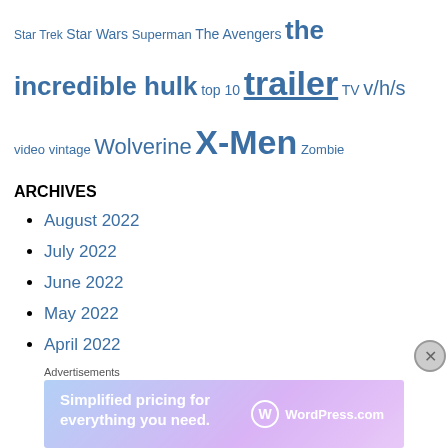Star Trek Star Wars Superman The Avengers the incredible hulk top 10 trailer TV v/h/s video vintage Wolverine X-Men Zombie
ARCHIVES
August 2022
July 2022
June 2022
May 2022
April 2022
March 2022
February 2022
January 2022
December 2021
[Figure (infographic): WordPress.com advertisement banner: 'Simplified pricing for everything you need.']